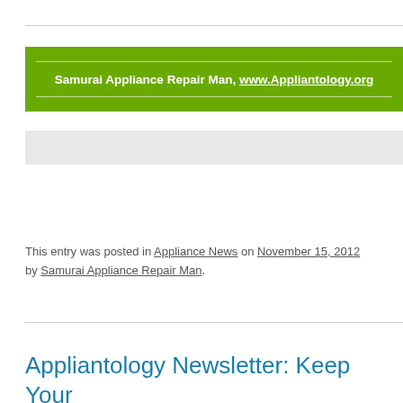Samurai Appliance Repair Man, www.Appliantology.org
This entry was posted in Appliance News on November 15, 2012 by Samurai Appliance Repair Man.
Appliantology Newsletter: Keep Your Oven Cooking for Thanksgiving